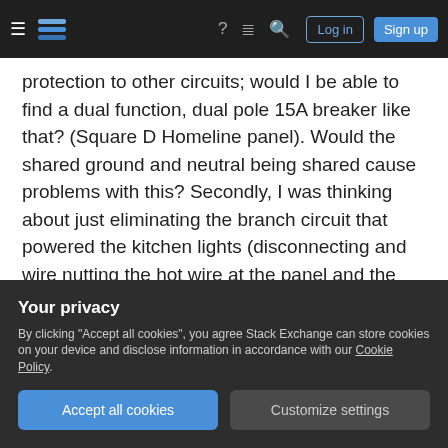Stack Exchange navigation bar with hamburger menu, logo, help, chat, search icons, Log in and Sign up buttons
protection to other circuits; would I be able to find a dual function, dual pole 15A breaker like that? (Square D Homeline panel). Would the shared ground and neutral being shared cause problems with this? Secondly, I was thinking about just eliminating the branch circuit that powered the kitchen lights (disconnecting and wire nutting the hot wire at the panel and the junction box, and labeling them as such), and combining the kitchen lights and living room lights and outlet onto one circuit. I will be replacing the two kitchen lights with leds totalling
Your privacy
By clicking "Accept all cookies", you agree Stack Exchange can store cookies on your device and disclose information in accordance with our Cookie Policy.
Accept all cookies   Customize settings